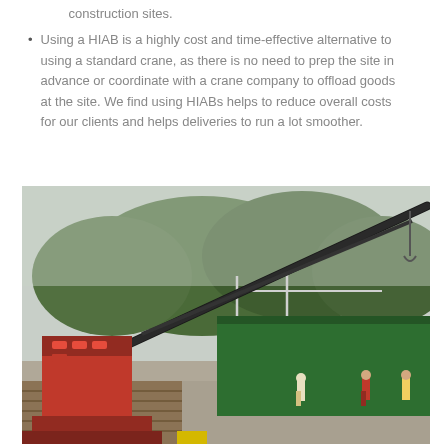construction sites.
Using a HIAB is a highly cost and time-effective alternative to using a standard crane, as there is no need to prep the site in advance or coordinate with a crane company to offload goods at the site. We find using HIABs helps to reduce overall costs for our clients and helps deliveries to run a lot smoother.
[Figure (photo): A red HIAB crane mounted on a vehicle, lifting a large green modular structure or container at a construction site. Workers in high-visibility gear are visible in the background among trees and gravel ground.]